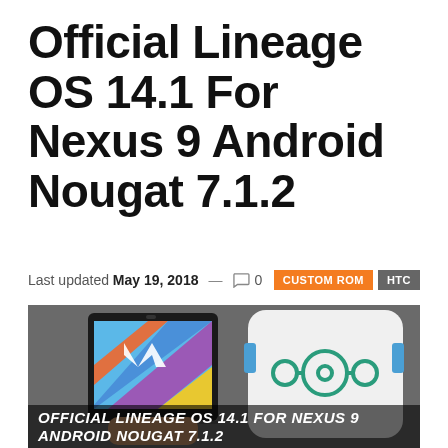Official Lineage OS 14.1 For Nexus 9 Android Nougat 7.1.2
Last updated May 19, 2018 — 0   CUSTOM ROM   HTC
[Figure (photo): Photo of a Nexus 9 tablet displaying Android Nougat UI alongside a white LineageOS branded device/box with the LineageOS logo (three connected circles). Text overlay at bottom reads: OFFICIAL LINEAGE OS 14.1 FOR NEXUS 9 ANDROID NOUGAT 7.1.2]